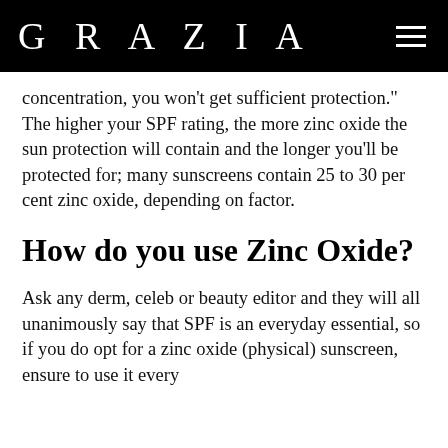GRAZIA
concentration, you won't get sufficient protection." The higher your SPF rating, the more zinc oxide the sun protection will contain and the longer you'll be protected for; many sunscreens contain 25 to 30 per cent zinc oxide, depending on factor.
How do you use Zinc Oxide?
Ask any derm, celeb or beauty editor and they will all unanimously say that SPF is an everyday essential, so if you do opt for a zinc oxide (physical) sunscreen, ensure to use it every